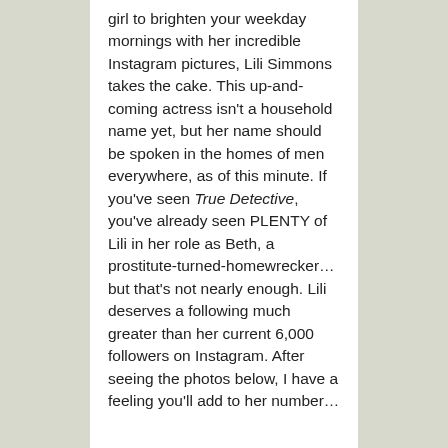girl to brighten your weekday mornings with her incredible Instagram pictures, Lili Simmons takes the cake. This up-and-coming actress isn't a household name yet, but her name should be spoken in the homes of men everywhere, as of this minute. If you've seen True Detective, you've already seen PLENTY of Lili in her role as Beth, a prostitute-turned-homewrecker…but that's not nearly enough. Lili deserves a following much greater than her current 6,000 followers on Instagram. After seeing the photos below, I have a feeling you'll add to her number…